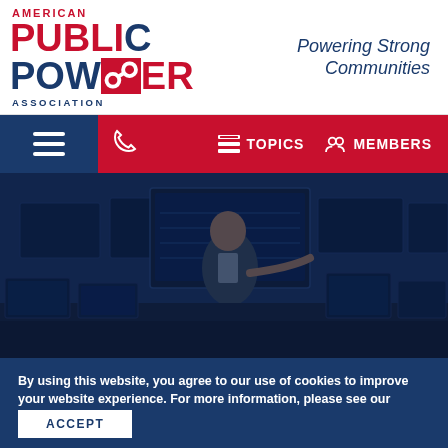[Figure (logo): American Public Power Association logo with red and navy text]
Powering Strong Communities
[Figure (screenshot): Website navigation bar with hamburger menu (dark blue), phone icon, Topics and Members links on red background]
[Figure (photo): Hero image of man working at a control room with multiple monitors, overlaid with dark blue tint]
By using this website, you agree to our use of cookies to improve your website experience. For more information, please see our Privacy Policy.
ACCEPT